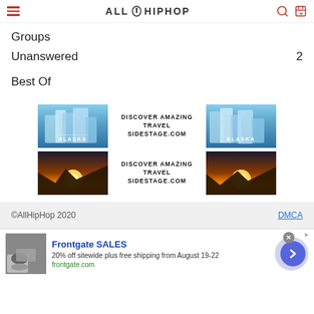AllHipHop
Groups
Unanswered 2
Best Of
[Figure (illustration): Two travel advertisement banners for sidestage.com showing Alaska glacier landscape and desert sunset landscape with text DISCOVER AMAZING TRAVEL SIDESTAGE.COM]
©AllHipHop 2020 DMCA
Frontgate SALES 20% off sitewide plus free shipping from August 19-22 frontgate.com